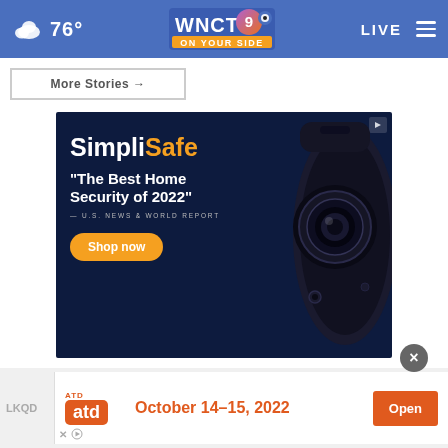76° WNCT 9 ON YOUR SIDE — LIVE
More Stories →
[Figure (screenshot): SimpliSafe advertisement on dark navy background. Text reads: SimpliSafe — 'The Best Home Security of 2022' — U.S. NEWS & WORLD REPORT. Orange 'Shop now' button. Security camera image on the right side.]
[Figure (screenshot): Bottom advertisement banner: ATD October 14–15, 2022 with Open button. LKQD label on far left.]